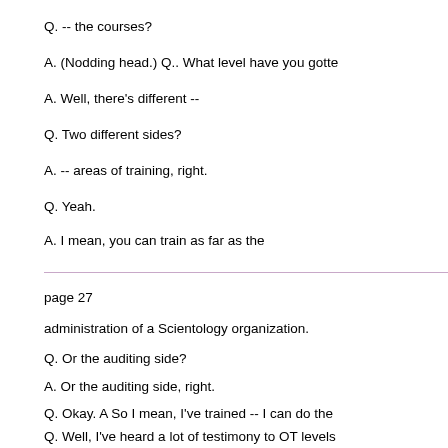Q. -- the courses?
A. (Nodding head.) Q.. What level have you gotte
A. Well, there's different --
Q. Two different sides?
A. -- areas of training, right.
Q. Yeah.
A. I mean, you can train as far as the
page 27
administration of a Scientology organization.
Q. Or the auditing side?
A. Or the auditing side, right.
Q. Okay. A So I mean, I've trained -- I can do the
Q. Well, I've heard a lot of testimony to OT levels
A. I haven't gotten onto that -- that training yet.
Q. Okay. So are you -- is it your plan to go into a know, eventually I would go into auditor training a